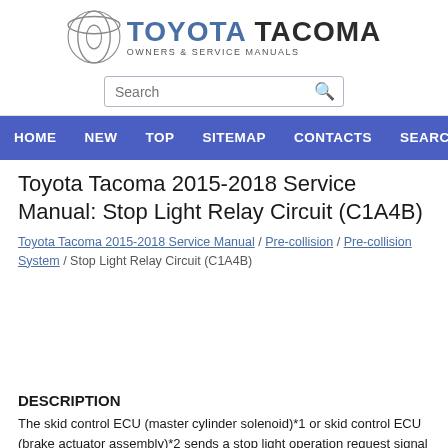[Figure (logo): Toyota Tacoma Owners & Service Manuals logo with Toyota circular emblem and brand text]
Search
HOME  NEW  TOP  SITEMAP  CONTACTS  SEARCH
Toyota Tacoma 2015-2018 Service Manual: Stop Light Relay Circuit (C1A4B)
Toyota Tacoma 2015-2018 Service Manual / Pre-collision / Pre-collision System / Stop Light Relay Circuit (C1A4B)
DESCRIPTION
The skid control ECU (master cylinder solenoid)*1 or skid control ECU (brake actuator assembly)*2 sends a stop light operation request signal to the stop light relay (stop light switch assembly). If the skid control ECU